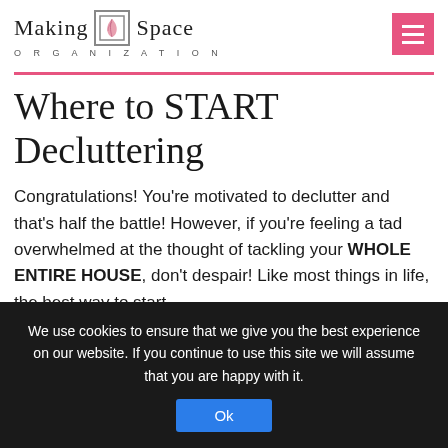Making Space ORGANIZATION
Where to START Decluttering
Congratulations! You're motivated to declutter and that's half the battle! However, if you're feeling a tad overwhelmed at the thought of tackling your WHOLE ENTIRE HOUSE, don't despair! Like most things in life, the best way to start
We use cookies to ensure that we give you the best experience on our website. If you continue to use this site we will assume that you are happy with it.